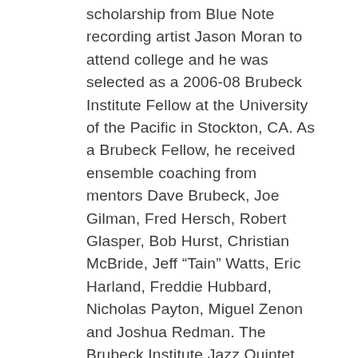scholarship from Blue Note recording artist Jason Moran to attend college and he was selected as a 2006-08 Brubeck Institute Fellow at the University of the Pacific in Stockton, CA. As a Brubeck Fellow, he received ensemble coaching from mentors Dave Brubeck, Joe Gilman, Fred Hersch, Robert Glasper, Bob Hurst, Christian McBride, Jeff “Tain” Watts, Eric Harland, Freddie Hubbard, Nicholas Payton, Miguel Zenon and Joshua Redman. The Brubeck Institute Jazz Quintet was selected as the 2007 Down Beat Magazine best college ensemble. Cory credits the Brubeck institute as one the most insightful musical experiences. After completing the two-year fellowship program, Cory moved to NYC to finish his undergrad studies at the New School University. Since